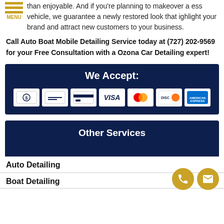than enjoyable. And if you're planning to makeover a business vehicle, we guarantee a newly restored look that highlight your brand and attract new customers to your business.
Call Auto Boat Mobile Detailing Service today at (727) 202-9569 for your Free Consultation with a Ozona Car Detailing expert!
[Figure (infographic): Dark navy blue box with title 'We Accept:' and payment method icons: cash, two card types, VISA, Mastercard, Discover, American Express]
Other Services
Auto Detailing
Boat Detailing